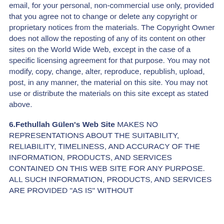email, for your personal, non-commercial use only, provided that you agree not to change or delete any copyright or proprietary notices from the materials. The Copyright Owner does not allow the reposting of any of its content on other sites on the World Wide Web, except in the case of a specific licensing agreement for that purpose. You may not modify, copy, change, alter, reproduce, republish, upload, post, in any manner, the material on this site. You may not use or distribute the materials on this site except as stated above.
6.Fethullah Gülen's Web Site MAKES NO REPRESENTATIONS ABOUT THE SUITABILITY, RELIABILITY, TIMELINESS, AND ACCURACY OF THE INFORMATION, PRODUCTS, AND SERVICES CONTAINED ON THIS WEB SITE FOR ANY PURPOSE. ALL SUCH INFORMATION, PRODUCTS, AND SERVICES ARE PROVIDED "AS IS" WITHOUT